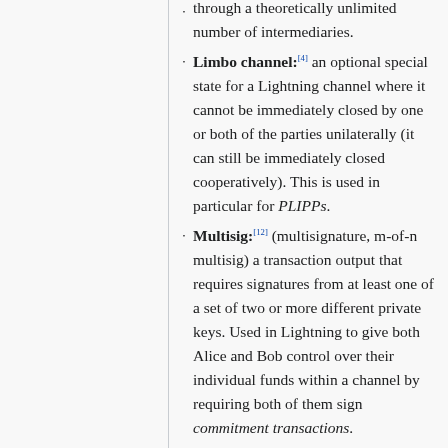through a theoretically unlimited number of intermediaries.
Limbo channel:[4] an optional special state for a Lightning channel where it cannot be immediately closed by one or both of the parties unilaterally (it can still be immediately closed cooperatively). This is used in particular for PLIPPs.
Multisig:[12] (multisignature, m-of-n multisig) a transaction output that requires signatures from at least one of a set of two or more different private keys. Used in Lightning to give both Alice and Bob control over their individual funds within a channel by requiring both of them sign commitment transactions.
Node: (Lightning node[1]) a wallet with one or more open Lightning